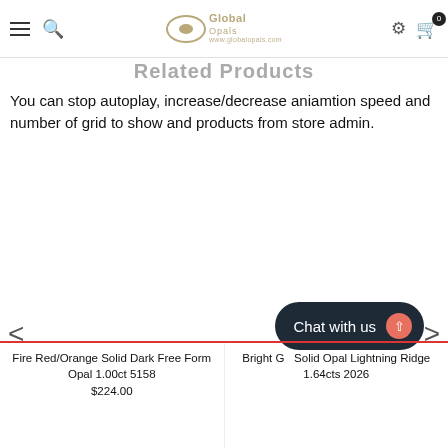Global Opals — navigation header with logo, search, settings, cart (0)
Related Products
You can stop autoplay, increase/decrease aniamtion speed and number of grid to show and products from store admin.
< (left arrow)
> (right arrow)
Chat with us
Fire Red/Orange Solid Dark Free Form Opal 1.00ct 5158
$224.00
Bright G... Solid Opal Lightning Ridge 1.64cts 2026